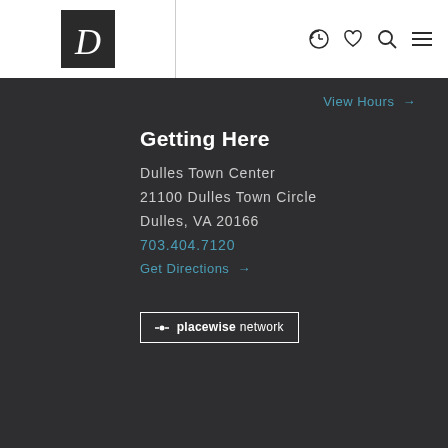[Figure (logo): Dulles Town Center logo: dark square with italic script letter D]
[Figure (other): Navigation icons: history/clock, heart/wishlist, search magnifier, hamburger menu]
View Hours →
Getting Here
Dulles Town Center
21100 Dulles Town Circle
Dulles, VA 20166
703.404.7120
Get Directions →
[Figure (logo): Placewise network logo: white text in rectangular border with bullet/dot icon]